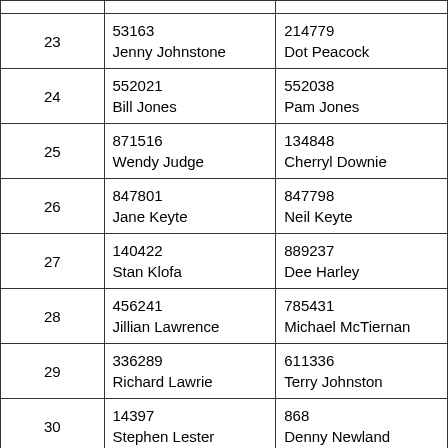|  |  |  |
| --- | --- | --- |
| 23 | 53163
Jenny Johnstone | 214779
Dot Peacock |
| 24 | 552021
Bill Jones | 552038
Pam Jones |
| 25 | 871516
Wendy Judge | 134848
Cherryl Downie |
| 26 | 847801
Jane Keyte | 847798
Neil Keyte |
| 27 | 140422
Stan Klofa | 889237
Dee Harley |
| 28 | 456241
Jillian Lawrence | 785431
Michael McTiernan |
| 29 | 336289
Richard Lawrie | 611336
Terry Johnston |
| 30 | 14397
Stephen Lester | 868
Denny Newland |
| 31 | 742139
Jean McGonigal | 658839
Maureen Peck |
| 32 | 813761
Sue Napier | 770973
Peter Burt |
| 33 | 894966
Paul O'Hare | 542873
Barb Evans |